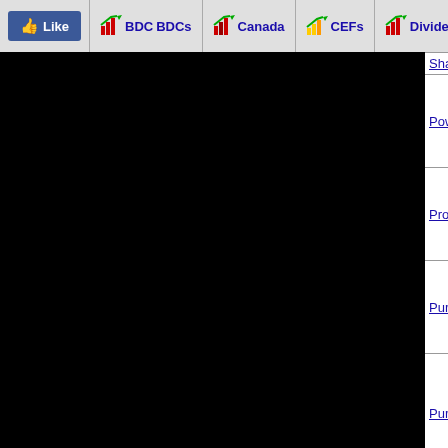Like | BDC BDCs | Canada | CEFs | Dividends | Energy | E...
| Share Name | Time | Price | Change | Arrow |
| --- | --- | --- | --- | --- |
| Share |  |  |  |  |
| Power Metals Corp Common Shares | 3:57 p.m. | 0.1455 | 0.0005 | up |
| Providence Gold Mines Inc Ordinary Share | 12:35 p.m. | 0.0368 | 0.0012 | down |
| Pure Energy Minerals LTD. Ordinary Share | 1:53 p.m. | 0.4569 | 0.0289 | down |
| Purepoint Uranium Group Inc Common Share | 3:53 p.m. | 0.051 | 0.001 | up |
| QC Copper & Gold Inc Canada | 2:40 p.m. | 0.116 | 0.0002 | up |
| Qcx Gold Corp American Depositary Recei | 12:03 p.m. | 0.0118 | 0.0082 | down |
| Qmc Quantum Minerals Corp Com Canada | 3:28 p.m. | 0.1361 | 0.0227 | down |
| Queensland |  |  |  |  |